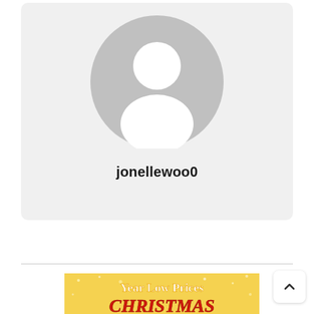[Figure (illustration): Default user profile avatar placeholder inside a light gray rounded card. Gray circle background with white silhouette of a person (head and shoulders).]
jonellewoo0
[Figure (illustration): Partial view of a promotional banner with golden/yellow glittery background. Text reads 'Year Low Prices' in white and 'CHRISTMAS' in red at the bottom (partially cut off).]
[Figure (other): Back-to-top button: white rounded square with an upward-pointing caret/chevron icon.]